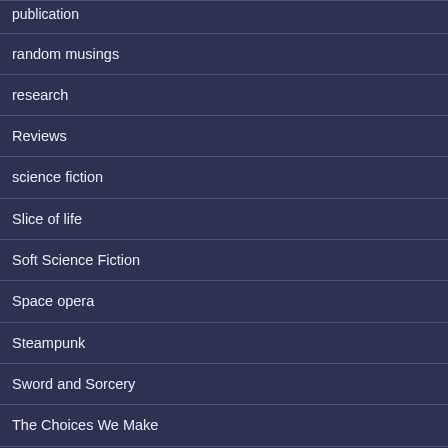publication
random musings
research
Reviews
science fiction
Slice of life
Soft Science Fiction
Space opera
Steampunk
Sword and Sorcery
The Choices We Make
Time Travel
tv shows